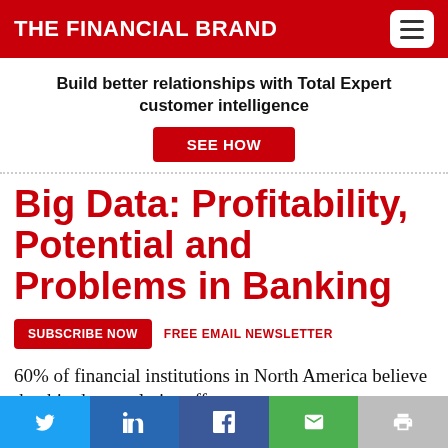THE FINANCIAL BRAND
Build better relationships with Total Expert customer intelligence
SEE HOW
Big Data: Profitability, Potential and Problems in Banking
SUBSCRIBE NOW   FREE EMAIL NEWSLETTER
60% of financial institutions in North America believe that big data analytics offers a